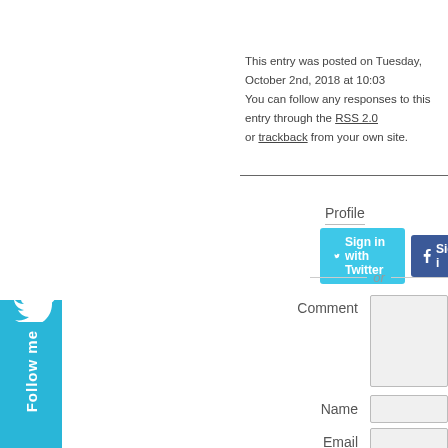This entry was posted on Tuesday, October 2nd, 2018 at 10:03. You can follow any responses to this entry through the RSS 2.0 or trackback from your own site.
[Figure (illustration): Cyan 'Follow me' sidebar button with Twitter bird icon on the left edge of the page]
Profile
Sign in with Twitter
Sign i[n with Facebook]
or
Comment
Name
Email
Not published